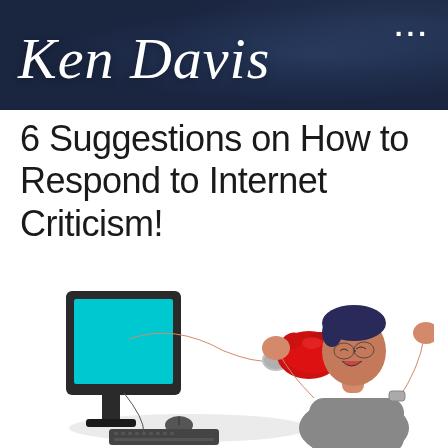Ken Davis ...
6 Suggestions on How to Respond to Internet Criticism!
[Figure (photo): A man reacting in shock as a boxing glove on an arm extends out of a computer monitor screen and punches him in the face, while he sits at a desk with a keyboard and mouse.]